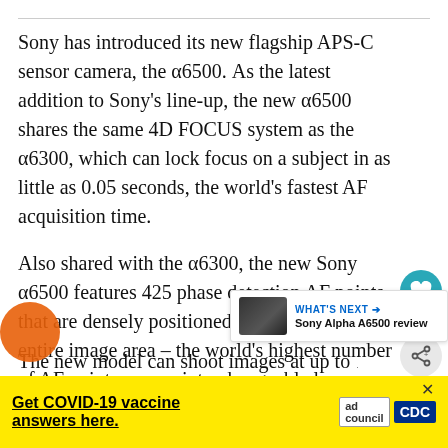Sony has introduced its new flagship APS-C sensor camera, the α6500. As the latest addition to Sony's line-up, the new α6500 shares the same 4D FOCUS system as the α6300, which can lock focus on a subject in as little as 0.05 seconds, the world's fastest AF acquisition time.
Also shared with the α6300, the new Sony α6500 features 425 phase detection AF points that are densely positioned over nearly the entire image area – the world's highest number of AF points on any interchangeable lens camera.
The new model can shoot images at up to 11
[Figure (other): WHAT'S NEXT panel showing Sony Alpha A6500 review with thumbnail image of camera]
[Figure (other): COVID-19 vaccine advertisement banner with CDC and Ad Council logos on yellow background]